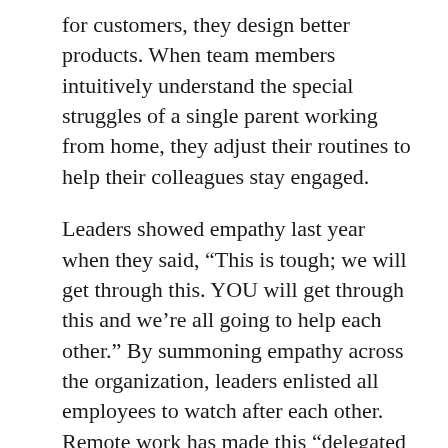for customers, they design better products. When team members intuitively understand the special struggles of a single parent working from home, they adjust their routines to help their colleagues stay engaged.
Leaders showed empathy last year when they said, “This is tough; we will get through this. YOU will get through this and we’re all going to help each other.” By summoning empathy across the organization, leaders enlisted all employees to watch after each other. Remote work has made this “delegated empathy” more important. It’s every leader’s job to highlight it in 2021.